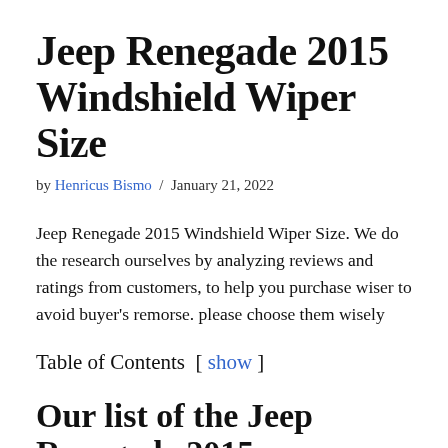Jeep Renegade 2015 Windshield Wiper Size
by Henricus Bismo / January 21, 2022
Jeep Renegade 2015 Windshield Wiper Size. We do the research ourselves by analyzing reviews and ratings from customers, to help you purchase wiser to avoid buyer's remorse. please choose them wisely
Table of Contents [ show ]
Our list of the Jeep Renegade 2015